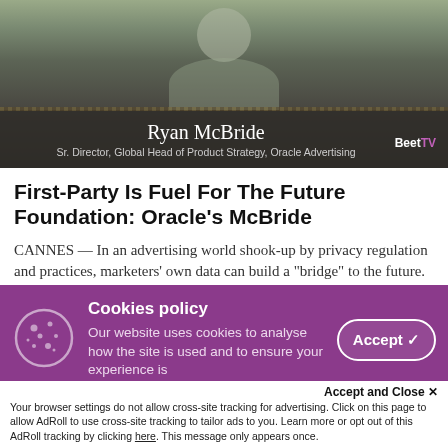[Figure (photo): Video thumbnail showing Ryan McBride, a man in a patterned grey shirt, with an overlay bar showing his name and title. Beet.TV logo in corner.]
First-Party Is Fuel For The Future Foundation: Oracle's McBride
CANNES — In an advertising world shook-up by privacy regulation and practices, marketers' own data can build a "bridge" to the future. A growing number of brands are coming to that realization. In this video interview with Beet.TV,
Cookies policy
Our website uses cookies to analyse how the site is used and to ensure your experience is improved. Read our cookie policy.
Accept and Close ✕
Your browser settings do not allow cross-site tracking for advertising. Click on this page to allow AdRoll to use cross-site tracking to tailor ads to you. Learn more or opt out of this AdRoll tracking by clicking here. This message only appears once.